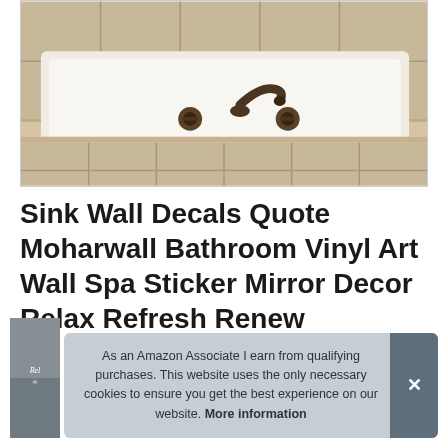[Figure (photo): A white drop-in bathtub with beige/cream tile surround and dark bronze/oil-rubbed bronze faucet set with two handles, viewed from above at an angle.]
Sink Wall Decals Quote Moharwall Bathroom Vinyl Art Wall Spa Sticker Mirror Decor Relax Refresh Renew
[Figure (photo): Small product thumbnail image showing a gray/dark background with stylized text 'Relax' and an infinity symbol.]
As an Amazon Associate I earn from qualifying purchases. This website uses the only necessary cookies to ensure you get the best experience on our website. More information